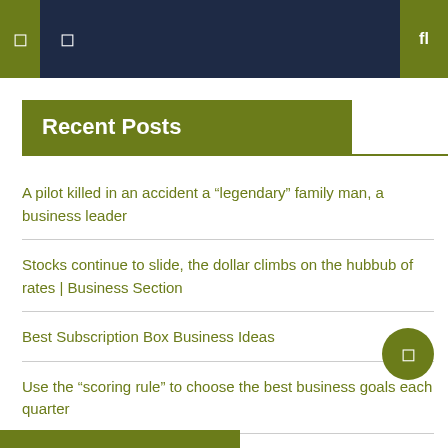Navigation header bar with icons
Recent Posts
A pilot killed in an accident a “legendary” family man, a business leader
Stocks continue to slide, the dollar climbs on the hubbub of rates | Business Section
Best Subscription Box Business Ideas
Use the “scoring rule” to choose the best business goals each quarter
Wall Street ends in a hole after Powell’s speech in Wyoming | Business section